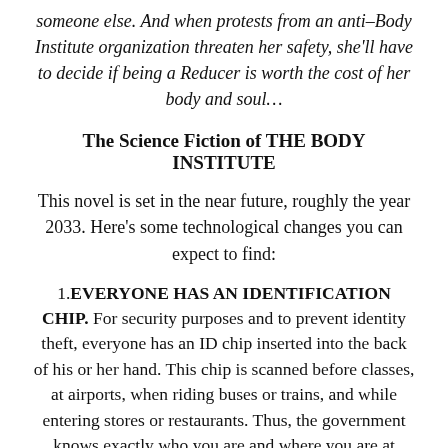someone else. And when protests from an anti–Body Institute organization threaten her safety, she'll have to decide if being a Reducer is worth the cost of her body and soul…
The Science Fiction of THE BODY INSTITUTE
This novel is set in the near future, roughly the year 2033. Here's some technological changes you can expect to find:
1.EVERYONE HAS AN IDENTIFICATION CHIP. For security purposes and to prevent identity theft, everyone has an ID chip inserted into the back of his or her hand. This chip is scanned before classes, at airports, when riding buses or trains, and while entering stores or restaurants. Thus, the government knows exactly who you are and where you are at almost any time.
2. CASHLESS SOCIETY. The ID chip also serves to